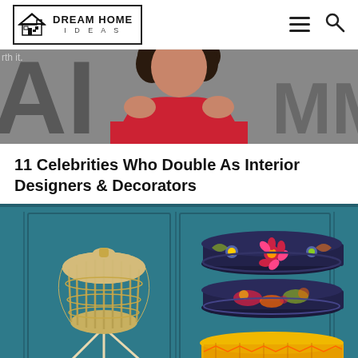DREAM HOME IDEAS
[Figure (photo): Cropped photo of a woman in a red dress with curly dark hair, background shows large letters 'AI' and text 'rth it.']
11 Celebrities Who Double As Interior Designers & Decorators
[Figure (photo): Interior decor photo featuring a tall bamboo lantern on a tripod stand and stacked colorful embroidered floor poufs against a teal/dark blue paneled wall background]